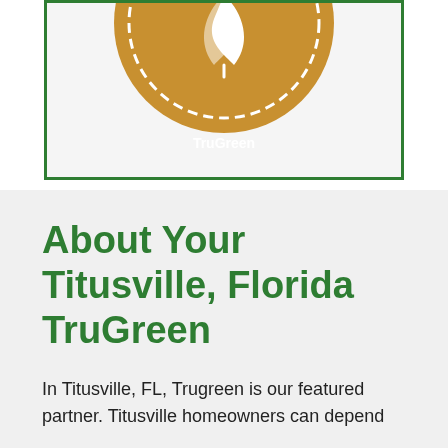[Figure (logo): TruGreen badge/seal logo with a leaf icon in orange/gold color with dashed circular border, partially visible at top, inside a green-bordered rectangle on a light gray background]
About Your Titusville, Florida TruGreen
In Titusville, FL, Trugreen is our featured partner. Titusville homeowners can depend